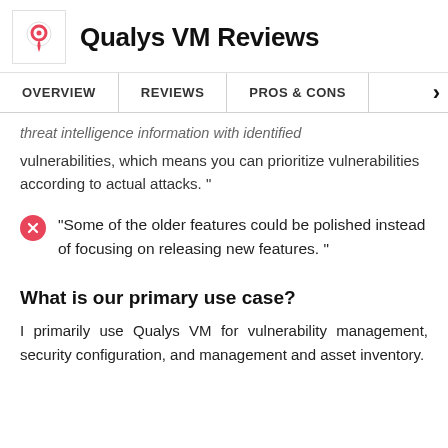Qualys VM Reviews
OVERVIEW | REVIEWS | PROS & CONS
threat intelligence information with identified vulnerabilities, which means you can prioritize vulnerabilities according to actual attacks."
"Some of the older features could be polished instead of focusing on releasing new features."
What is our primary use case?
I primarily use Qualys VM for vulnerability management, security configuration, and management and asset inventory.